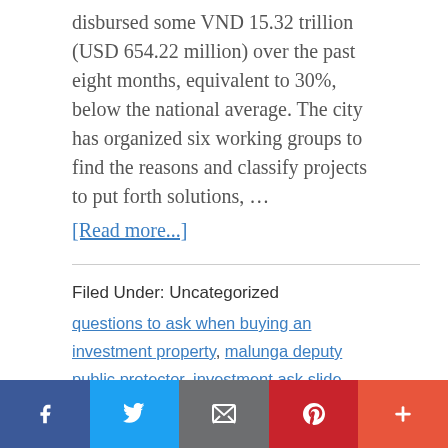disbursed some VND 15.32 trillion (USD 654.22 million) over the past eight months, equivalent to 30%, below the national average. The city has organized six working groups to find the reasons and classify projects to put forth solutions, …
[Read more...]
Filed Under: Uncategorized
questions to ask when buying an investment property, malunga deputy public protector, investment ask slide, investment ask template, investment ask and bid, investment ask, hoped-for boom in public investment